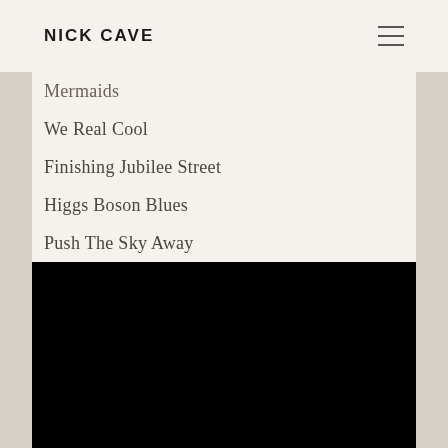NICK CAVE
Mermaids
We Real Cool
Finishing Jubilee Street
Higgs Boson Blues
Push The Sky Away
[Figure (photo): Large black rectangle, appears to be a dark/black image or video placeholder]